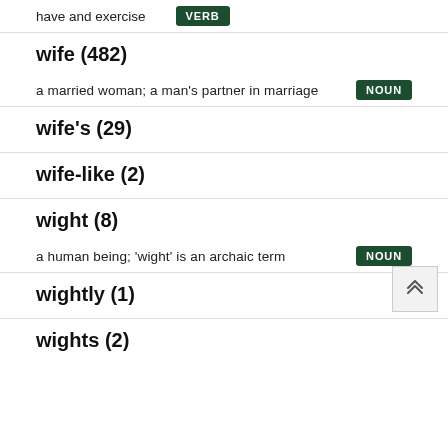have and exercise   VERB
wife (482)
a married woman; a man's partner in marriage   NOUN
wife's (29)
wife-like (2)
wight (8)
a human being; 'wight' is an archaic term   NOUN
wightly (1)
wights (2)